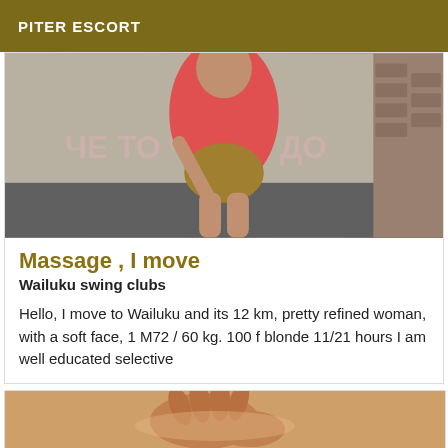PITER ESCORT
[Figure (photo): Photo of a person in a pink/red top and khaki shorts, bending forward against a wall with graffiti text visible]
Massage , I move
Wailuku swing clubs
Hello, I move to Wailuku and its 12 km, pretty refined woman, with a soft face, 1 M72 / 60 kg. 100 f blonde 11/21 hours I am well educated selective
[Figure (photo): Close-up photo of a person receiving a back massage, showing hands on bare skin]